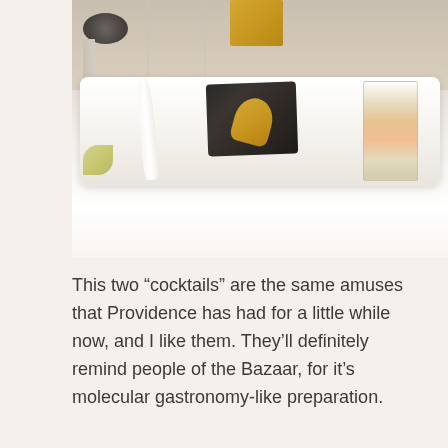[Figure (photo): A restaurant table setting photographed from above showing a long white rectangular plate with a dark slate stone piece holding a small golden spoon, a colorful cocktail glass with orange and yellow garnishes, a white ceramic spoon, a lime wedge, wine glasses in background, and a golden box in the center background.]
This two “cocktails” are the same amuses that Providence has had for a little while now, and I like them. They’ll definitely remind people of the Bazaar, for it’s molecular gastronomy-like preparation.